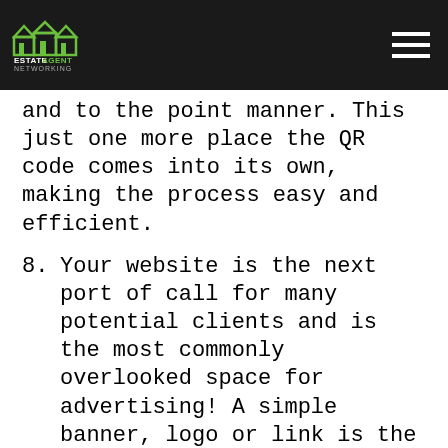Estate Agent Networking
and to the point manner. This just one more place the QR code comes into its own, making the process easy and efficient.
8. Your website is the next port of call for many potential clients and is the most commonly overlooked space for advertising! A simple banner, logo or link is the easiest way to make your clients aware that they can browse your properties anywhere with ease.
9. If your clients are to access your website from a mobile, a quick notification that takes them to the app store can be all it takes to get them to download your app. This can be as simple as adding a line of code to